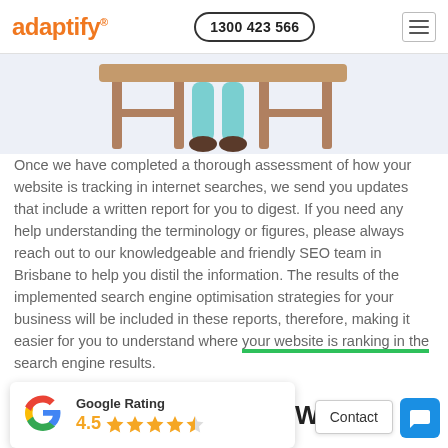adaptify® | 1300 423 566
[Figure (illustration): Partial illustration of a person's legs in teal trousers sitting at a wooden desk/stool, visible from waist down against a light blue-grey background.]
Once we have completed a thorough assessment of how your website is tracking in internet searches, we send you updates that include a written report for you to digest. If you need any help understanding the terminology or figures, please always reach out to our knowledgeable and friendly SEO team in Brisbane to help you distil the information. The results of the implemented search engine optimisation strategies for your business will be included in these reports, therefore, making it easier for you to understand where your website is ranking in the search engine results.
[Figure (other): Google Rating widget showing 4.5 stars rating with Google G logo]
Contact
Today